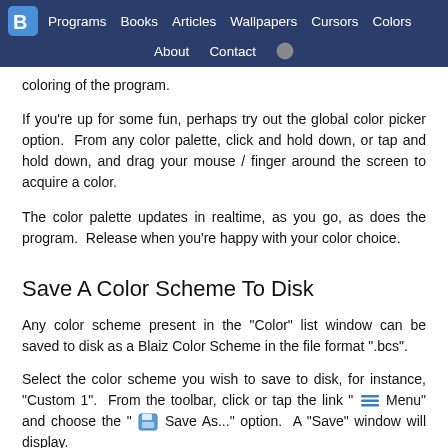Programs  Books  Articles  Wallpapers  Cursors  Colors  About  Contact
coloring of the program.
If you're up for some fun, perhaps try out the global color picker option.  From any color palette, click and hold down, or tap and hold down, and drag your mouse / finger around the screen to acquire a color.
The color palette updates in realtime, as you go, as does the program.  Release when you're happy with your color choice.
Save A Color Scheme To Disk
Any color scheme present in the "Color" list window can be saved to disk as a Blaiz Color Scheme in the file format ".bcs".
Select the color scheme you wish to save to disk, for instance, "Custom 1".  From the toolbar, click or tap the link " Menu" and choose the " Save As..." option.  A "Save" window will display.